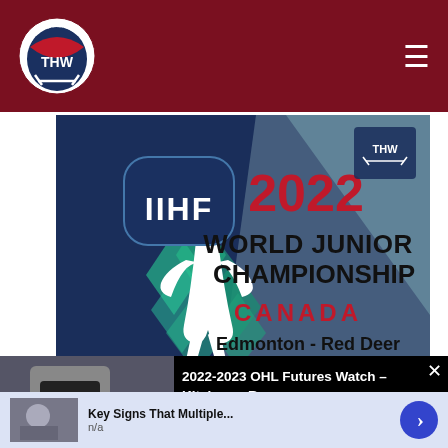THW - The Hockey Writers
[Figure (illustration): IIHF 2022 World Junior Championship Canada, Edmonton - Red Deer promotional banner with THW logo]
[Figure (photo): Hockey player wearing black jersey with number 8, name BOUTREAU on back, on ice rink]
2022-2023 OHL Futures Watch – Kitchener Rangers
[Figure (photo): Sports player thumbnail for advertisement]
Key Signs That Multiple...
n/a